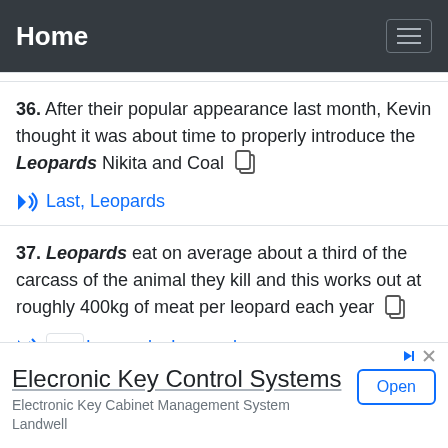Home
36. After their popular appearance last month, Kevin thought it was about time to properly introduce the Leopards Nikita and Coal
Last, Leopards
37. Leopards eat on average about a third of the carcass of the animal they kill and this works out at roughly 400kg of meat per leopard each year
Leopards, Leopard
Elecronic Key Control Systems
Electronic Key Cabinet Management System
Landwell